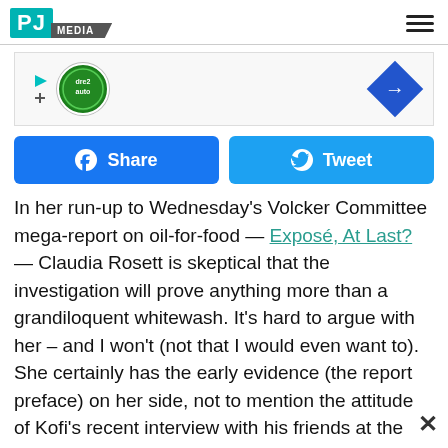[Figure (logo): PJ Media logo in teal box with gray MEDIA label]
[Figure (infographic): Advertisement banner with dre2auto circular logo and blue diamond arrow icon]
Share
Tweet
In her run-up to Wednesday's Volcker Committee mega-report on oil-for-food — Exposé, At Last? — Claudia Rosett is skeptical that the investigation will prove anything more than a grandiloquent whitewash. It's hard to argue with her – and I won't (not that I would even want to). She certainly has the early evidence (the report preface) on her side, not to mention the attitude of Kofi's recent interview with his friends at the BBC.